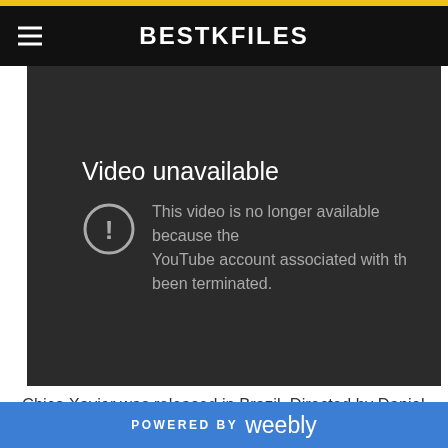BESTKFILES
[Figure (screenshot): YouTube video unavailable error screen on dark background showing circle with exclamation mark icon and text: 'Video unavailable - This video is no longer available because the YouTube account associated with this video has been terminated.']
Chico Xavier was released in Brazil. Directed by Daniel Filho, the film dramatized Xavier's life.[7]On October 3, 2.
POWERED BY weebly